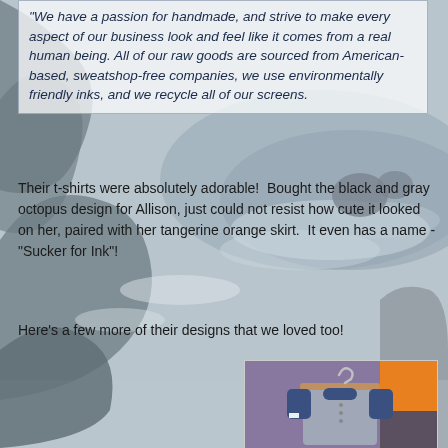"We have a passion for handmade, and strive to make every aspect of our business look and feel like it comes from a real human being. All of our raw goods are sourced from American-based, sweatshop-free companies, we use environmentally friendly inks, and we recycle all of our screens.
Their t-shirts were absolutely adorable!  Bought the black and gray octopus design for Allison, just could not resist how cute it looked on her, paired with her tangerine orange skirt.  It even has a name - "Sucker for Ink"!
Here's a few more of their designs that we loved too!
[Figure (photo): Photo of a blue and gray baseball-style t-shirt on a wooden hanger, with an orange fabric visible in the background.]